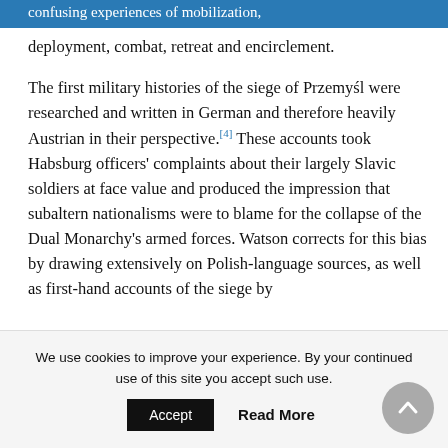confusing experiences of mobilization, deployment, combat, retreat and encirclement.
The first military histories of the siege of Przemyśl were researched and written in German and therefore heavily Austrian in their perspective.[4] These accounts took Habsburg officers' complaints about their largely Slavic soldiers at face value and produced the impression that subaltern nationalisms were to blame for the collapse of the Dual Monarchy's armed forces. Watson corrects for this bias by drawing extensively on Polish-language sources, as well as first-hand accounts of the siege by
We use cookies to improve your experience. By your continued use of this site you accept such use.